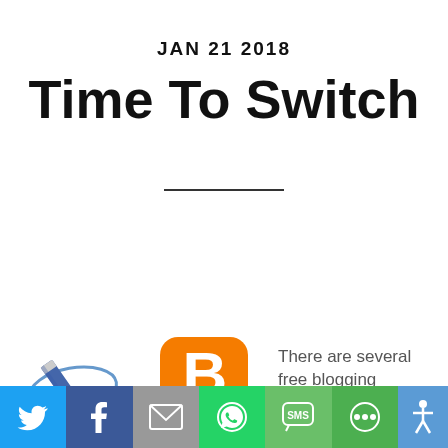JAN 21 2018
Time To Switch
[Figure (illustration): Pencil writing icon with blue swoosh]
[Figure (logo): Blogger app icon - orange rounded square with white B letter]
There are several free blogging
[Figure (infographic): Social media share toolbar with Twitter, Facebook, Email, WhatsApp, SMS, and other sharing icons]